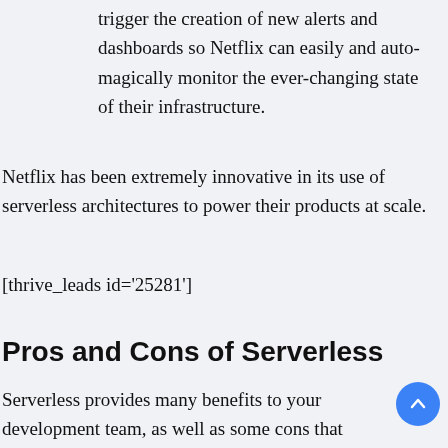trigger the creation of new alerts and dashboards so Netflix can easily and auto-magically monitor the ever-changing state of their infrastructure.
Netflix has been extremely innovative in its use of serverless architectures to power their products at scale.
[thrive_leads id='25281']
Pros and Cons of Serverless
Serverless provides many benefits to your development team, as well as some cons that you'll need to consider before implementing it...